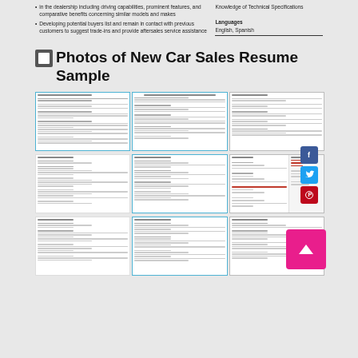in the dealership including driving capabilities, prominent features, and comparative benefits concerning similar models and makes
Developing potential buyers list and remain in contact with previous customers to suggest trade-ins and provide aftersales service assistance
Knowledge of Technical Specifications
Languages
English, Spanish
Photos of New Car Sales Resume Sample
[Figure (photo): Grid of 9 resume sample thumbnail images showing various car sales resume formats]
[Figure (illustration): Social media share buttons: Facebook, Twitter, Pinterest]
[Figure (illustration): Scroll to top pink button with up arrow]